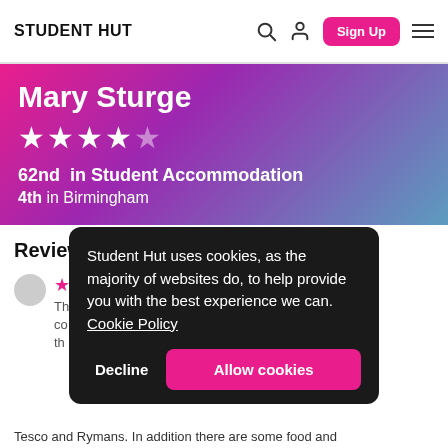STUDENT HUT
Mary Sturge
62nd in Student Accommodation
4th in Birmingham
Reviews
Student Hut uses cookies, as the majority of websites do, to help provide you with the best experience we can. Cookie Policy
Decline   Allow cookies
Tesco and Rymans. In addition there are some food and